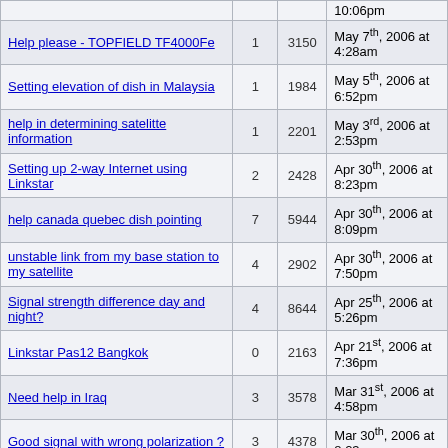| Topic | Replies | Views | Last Post |
| --- | --- | --- | --- |
| (partial top row) |  |  | 10:06pm |
| Help please - TOPFIELD TF4000Fe | 1 | 3150 | May 7th, 2006 at 4:28am |
| Setting elevation of dish in Malaysia | 1 | 1984 | May 5th, 2006 at 6:52pm |
| help in determining satelitte information | 1 | 2201 | May 3rd, 2006 at 2:53pm |
| Setting up 2-way Internet using Linkstar | 2 | 2428 | Apr 30th, 2006 at 8:23pm |
| help canada quebec  dish pointing | 7 | 5944 | Apr 30th, 2006 at 8:09pm |
| unstable link from my base station to my satellite | 4 | 2902 | Apr 30th, 2006 at 7:50pm |
| Signal strength difference day and night? | 4 | 8644 | Apr 25th, 2006 at 5:26pm |
| Linkstar Pas12 Bangkok | 0 | 2163 | Apr 21st, 2006 at 7:36pm |
| Need help in Iraq | 3 | 3578 | Mar 31st, 2006 at 4:58pm |
| Good signal with wrong polarization ? | 3 | 4378 | Mar 30th, 2006 at 8:23am |
| Dust on dish ! low signal ? | 2 | 2516 | Mar 26th, 2006 at 4:55pm |